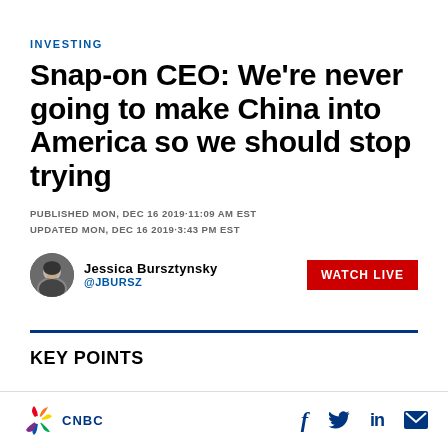INVESTING
Snap-on CEO: We're never going to make China into America so we should stop trying
PUBLISHED MON, DEC 16 2019·11:09 AM EST
UPDATED MON, DEC 16 2019·3:43 PM EST
Jessica Bursztynsky @JBURSZ
KEY POINTS
CNBC